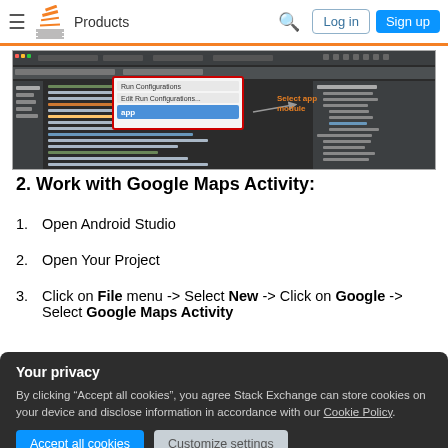Stack Overflow navigation: hamburger menu, logo, Products, search, Log in, Sign up
[Figure (screenshot): Android Studio IDE screenshot showing a dropdown menu with 'Select app module' label and an arrow pointing to it, with code visible in the editor]
2. Work with Google Maps Activity:
1. Open Android Studio
2. Open Your Project
3. Click on File menu -> Select New -> Click on Google -> Select Google Maps Activity
Your privacy
By clicking "Accept all cookies", you agree Stack Exchange can store cookies on your device and disclose information in accordance with our Cookie Policy.
number 10 of the XML file)